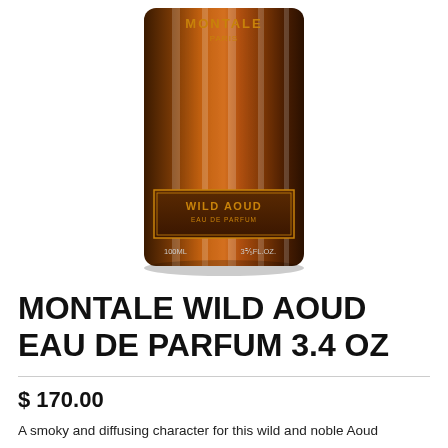[Figure (photo): Montale Paris Wild Aoud Eau de Parfum 100ML bottle — dark brown cylindrical bottle with gold label reading WILD AOUD EAU DE PARFUM, 100ML 3⅖ FL.OZ., MONTALE PARIS at top]
MONTALE WILD AOUD EAU DE PARFUM 3.4 OZ
$ 170.00
A smoky and diffusing character for this wild and noble Aoud